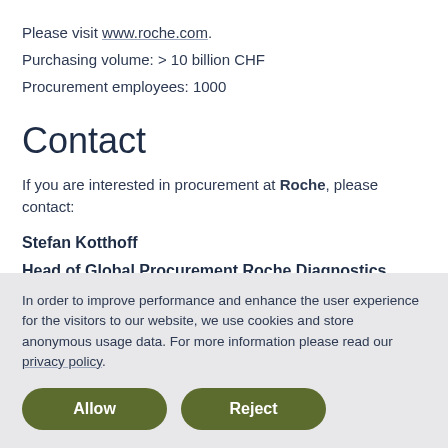Please visit www.roche.com.
Purchasing volume: > 10 billion CHF
Procurement employees: 1000
Contact
If you are interested in procurement at Roche, please contact:
Stefan Kotthoff
Head of Global Procurement Roche Diagnostics
In order to improve performance and enhance the user experience for the visitors to our website, we use cookies and store anonymous usage data. For more information please read our privacy policy.
Allow
Reject